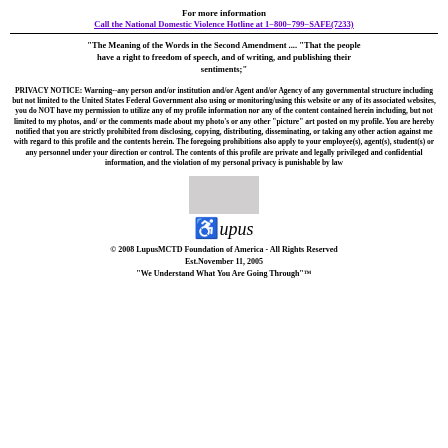For more information
Call the National Domestic Violence Hotline at 1-800-799-SAFE(7233)
"The Meaning of the Words in the Second Amendment .... "That the people have a right to freedom of speech, and of writing, and publishing their sentiments;"
PRIVACY NOTICE: Warning--any person and/or institution and/or Agent and/or Agency of any governmental structure including but not limited to the United States Federal Government also using or monitoring/using this website or any of its associated websites, you do NOT have my permission to utilize any of my profile information nor any of the content contained herein including, but not limited to my photos, and/ or the comments made about my photo's or any other "picture" art posted on my profile. You are hereby notified that you are strictly prohibited from disclosing, copying, distributing, disseminating, or taking any other action against me with regard to this profile and the contents herein. The foregoing prohibitions also apply to your employee(s), agent(s), student(s) or any personnel under your direction or control. The contents of this profile are private and legally privileged and confidential information, and the violation of my personal privacy is punishable by law
[Figure (logo): Lupus ribbon logo with the word Lupus in italic script]
© 2008 LupusMCTD Foundation of America - All Rights Reserved
Est.November 11, 2005
"We Understand What You Are Going Through"™